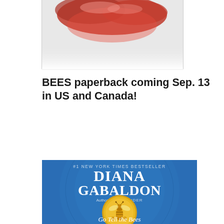[Figure (photo): Top portion of a book cover showing decorative red/ribbon elements against white background, cropped]
BEES paperback coming Sep. 13 in US and Canada!
[Figure (photo): Book cover of 'Go Tell the Bees That I Am Gone' by Diana Gabaldon. Blue background with ornate patterns, large gold circular medallion with a bee in the center. Text reads: #1 NEW YORK TIMES BESTSELLER, DIANA GABALDON, Author of OUTLANDER, Go Tell the Bees (partially visible at bottom)]